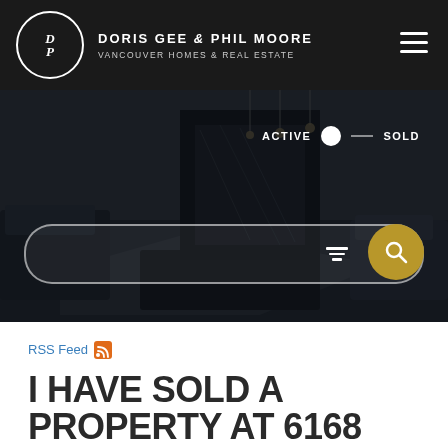DORIS GEE & PHIL MOORE — VANCOUVER HOMES & REAL ESTATE
[Figure (screenshot): Hero background photo of a modern living room interior in dark tones with a fireplace, armchairs and a geometric rug, overlaid with a search bar interface showing ACTIVE/SOLD toggle and a gold search button with filter icon]
RSS Feed
I HAVE SOLD A PROPERTY AT 6168 PORTLAND ST IN